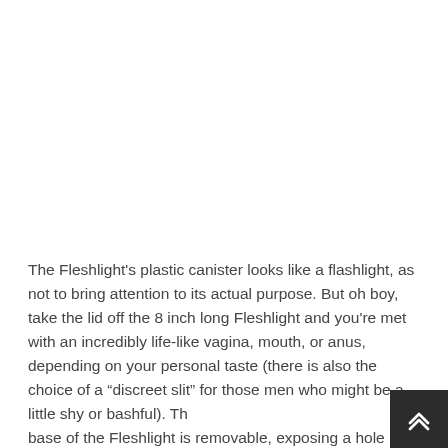The Fleshlight's plastic canister looks like a flashlight, as not to bring attention to its actual purpose. But oh boy, take the lid off the 8 inch long Fleshlight and you're met with an incredibly life-like vagina, mouth, or anus, depending on your personal taste (there is also the choice of a “discreet slit” for those men who might be a little shy or bashful). The base of the Fleshlight is removable, exposing a hole